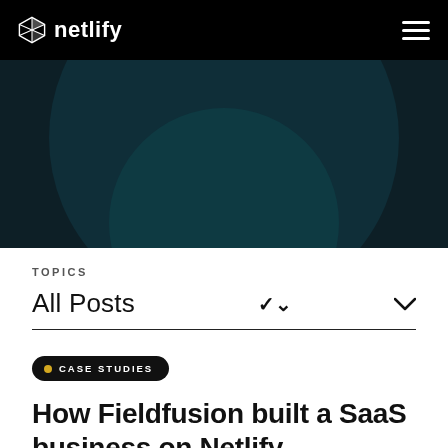netlify
[Figure (illustration): Dark teal hero banner with concentric circular shapes in deep teal/dark navy gradient background]
TOPICS
All Posts
CASE STUDIES
How Fieldfusion built a SaaS business on Netlify